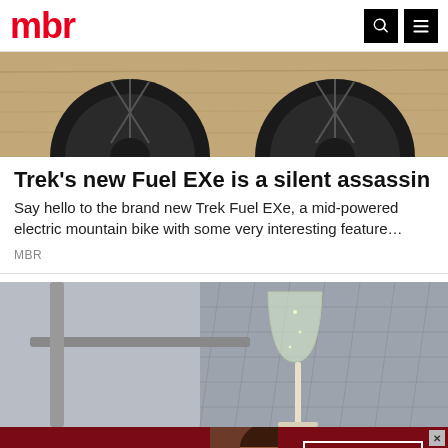mbr
[Figure (photo): Mountain bike wheels resting on a wooden surface, showing black tires and rims from above]
Trek's new Fuel EXe is a silent assassin
Say hello to the brand new Trek Fuel EXe, a mid-powered electric mountain bike with some very interesting feature…
MBR
[Figure (photo): A champagne flute with sparkling wine next to an airline seat with patterned upholstery]
[Figure (advertisement): Macy's advertisement reading 'KISS BORING LIPS GOODBYE' with a woman's face showing red lips, and a 'SHOP NOW' button with the Macy's star logo]